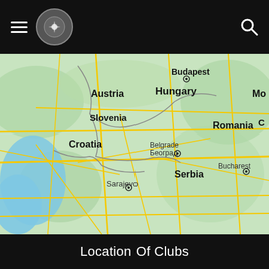Navigation bar with hamburger menu, logo, and search icon
[Figure (map): Google Maps view showing Central/Eastern Europe including Austria, Hungary (Budapest), Slovenia, Croatia, Romania (Bucharest), Serbia (Belgrade/Београд), and Sarajevo. Road network shown in yellow on green terrain background.]
Location Of Clubs
[Figure (map): Partial map preview at bottom of page showing coastal/water region in light blue.]